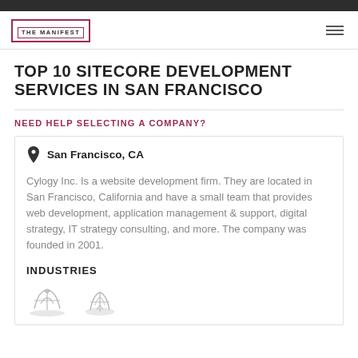THE MANIFEST
TOP 10 SITECORE DEVELOPMENT SERVICES IN SAN FRANCISCO
NEED HELP SELECTING A COMPANY?
San Francisco, CA
Cylogy Inc. Is a website development firm. They are located in San Francisco, California and have a small team that provides web development, application management & support, digital strategy, IT strategy consulting, and more. The company was founded in 2001.
INDUSTRIES